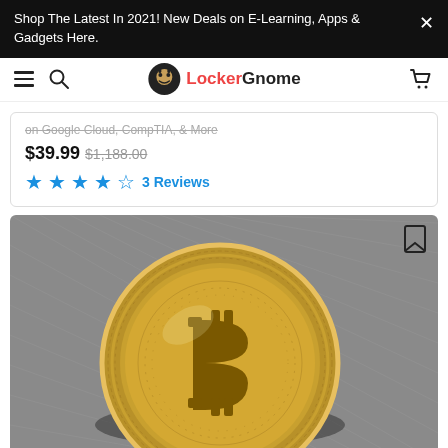Shop The Latest In 2021! New Deals on E-Learning, Apps & Gadgets Here.
LockerGnome navigation bar with hamburger menu, search, logo, and cart
on Google Cloud, CompTIA, & More
$39.99  $1,188.00
3 Reviews
[Figure (photo): Close-up photo of a gold Bitcoin physical coin resting on a gray textured surface, showing the Bitcoin 'B' symbol with double vertical bars on the face of the coin]